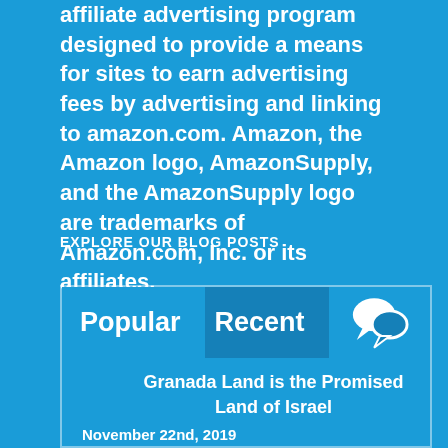affiliate advertising program designed to provide a means for sites to earn advertising fees by advertising and linking to amazon.com. Amazon, the Amazon logo, AmazonSupply, and the AmazonSupply logo are trademarks of Amazon.com, Inc. or its affiliates.
EXPLORE OUR BLOG POSTS
[Figure (screenshot): Blog navigation widget with Popular, Recent, and Comments tabs. Below shows a blog post titled 'Granada Land is the Promised Land of Israel' dated November 22nd, 2019.]